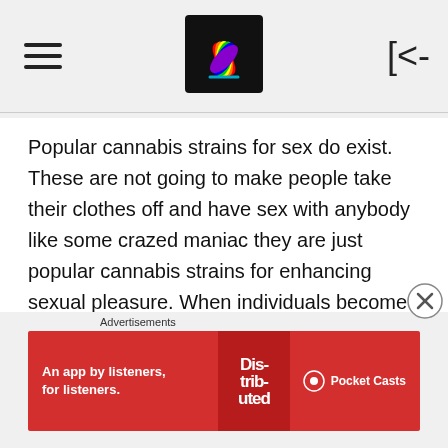[hamburger menu icon] [logo] [back button]
Popular cannabis strains for sex do exist. These are not going to make people take their clothes off and have sex with anybody like some crazed maniac they are just popular cannabis strains for enhancing sexual pleasure. When individuals become sexually aroused for a multitude of different reasons there are things that make some people uncomfortable. Whether it be they are too noisy in bed, they are uncomfortable
Advertisements
[Figure (other): Pocket Casts advertisement banner: red background with text 'An app by listeners, for listeners.' and Pocket Casts logo with 'Dis-trib-uted' book cover image]